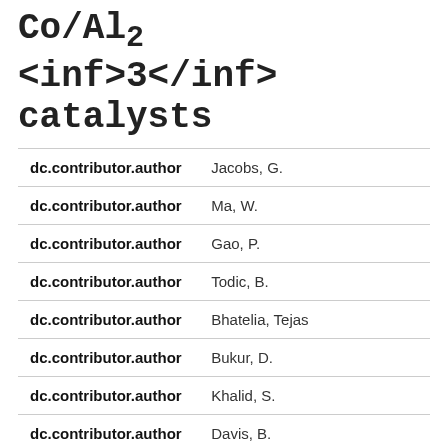Co/Al <inf>2</inf> <inf>3</inf> <inf>3</inf> catalysts
| Field | Value |
| --- | --- |
| dc.contributor.author | Jacobs, G. |
| dc.contributor.author | Ma, W. |
| dc.contributor.author | Gao, P. |
| dc.contributor.author | Todic, B. |
| dc.contributor.author | Bhatelia, Tejas |
| dc.contributor.author | Bukur, D. |
| dc.contributor.author | Khalid, S. |
| dc.contributor.author | Davis, B. |
| dc.date.accessioned | 2017-11-24T05:24:56Z |
| dc.date.available | 2017-11-24T05:24:56Z |